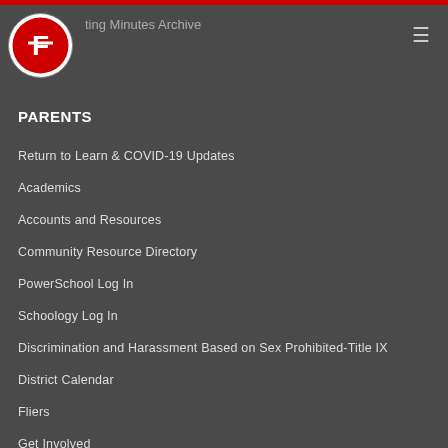Meeting Minutes Archive
PARENTS
Return to Learn & COVID-19 Updates
Academics
Accounts and Resources
Community Resource Directory
PowerSchool Log In
Schoology Log In
Discrimination and Harassment Based on Sex Prohibited-Title IX
District Calendar
Fliers
Get Involved
Health and Safety
Kindergarten Prep
Kindergarten Registration
Learning Based Grading
Menus